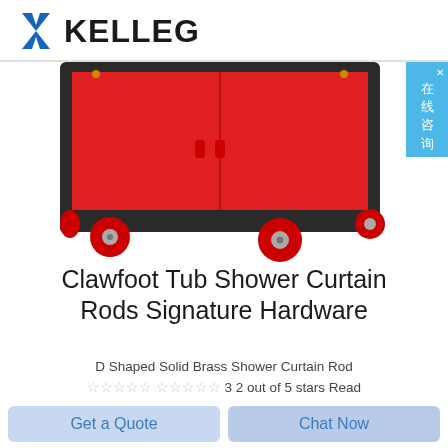KELLEG
[Figure (photo): Product photo showing the bottom portion of a red and black tool cart/cabinet on red wheels with black frame]
Clawfoot Tub Shower Curtain Rods Signature Hardware
D Shaped Solid Brass Shower Curtain Rod ☆☆☆☆☆ ☆☆☆☆☆ 3 2 out of 5 stars Read reviews for D Shaped Solid Brass Shower Curtain Rod 15 Starting at 199 00 View All View Details Pick
Get a Quote
Chat Now